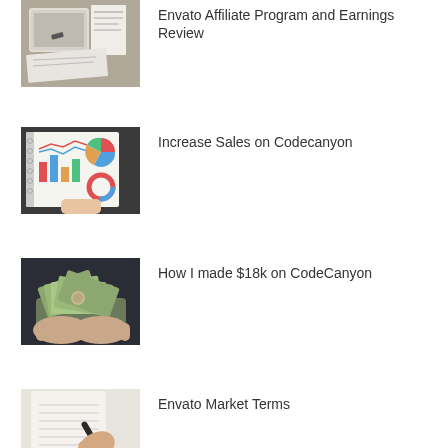[Figure (photo): Tablet and papers with charts on a desk]
Envato Affiliate Program and Earnings Review
[Figure (photo): Notebook open with business charts, graphs and pie charts]
Increase Sales on Codecanyon
[Figure (photo): Hands holding fan of US dollar bills]
How I made $18k on CodeCanyon
[Figure (photo): Person signing a document with pen]
Envato Market Terms